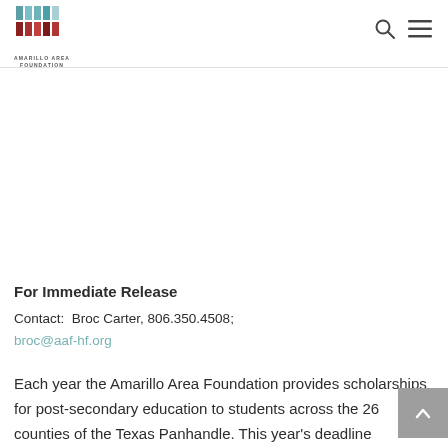Amarillo Area Foundation — navigation header with logo, search icon, and menu icon
For Immediate Release
Contact:  Broc Carter, 806.350.4508;
broc@aaf-hf.org
Each year the Amarillo Area Foundation provides scholarships for post-secondary education to students across the 26 counties of the Texas Panhandle. This year's deadline